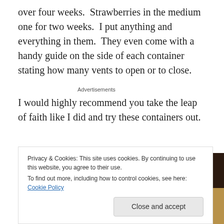over four weeks.  Strawberries in the medium one for two weeks.  I put anything and everything in them.  They even come with a handy guide on the side of each container stating how many vents to open or to close.
Advertisements
I would highly recommend you take the leap of faith like I did and try these containers out.
[Figure (photo): Dark brown wooden surface or container lid, partial view]
Privacy & Cookies: This site uses cookies. By continuing to use this website, you agree to their use.
To find out more, including how to control cookies, see here: Cookie Policy
Close and accept